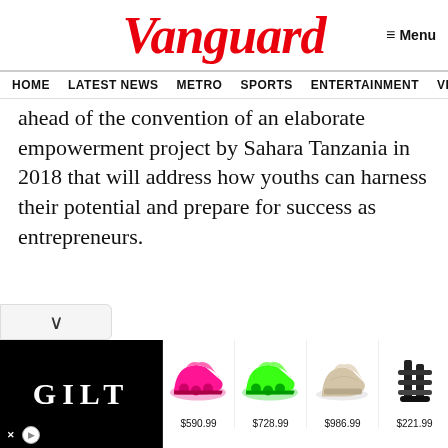Vanguard
≡ Menu
HOME  LATEST NEWS  METRO  SPORTS  ENTERTAINMENT  VIDEOS
ahead of the convention of an elaborate empowerment project by Sahara Tanzania in 2018 that will address how youths can harness their potential and prepare for success as entrepreneurs.
[Figure (other): Advertisement banner for Gilt.com showing four shoes with prices: $590.99, $728.99, $986.99, $221.99]